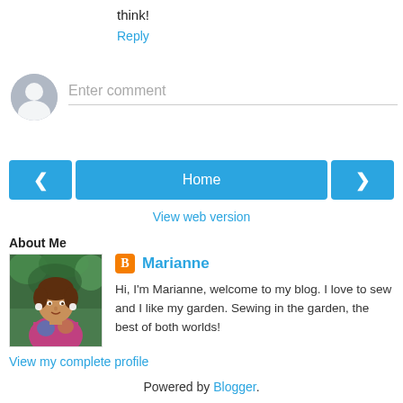think!
Reply
Enter comment
Home
View web version
About Me
[Figure (photo): Profile photo of Marianne, a woman with brown hair outdoors with green foliage background]
Marianne
Hi, I'm Marianne, welcome to my blog. I love to sew and I like my garden. Sewing in the garden, the best of both worlds!
View my complete profile
Powered by Blogger.